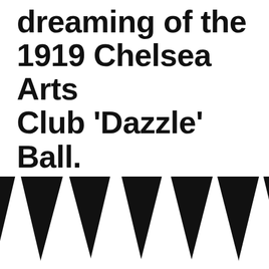dreaming of the 1919 Chelsea Arts Club 'Dazzle' Ball.
[Figure (illustration): Bold black and white graphic of repeating sharp upward-pointing triangles (dazzle pattern) filling the bottom half of the page, with a solid black band at the very bottom.]